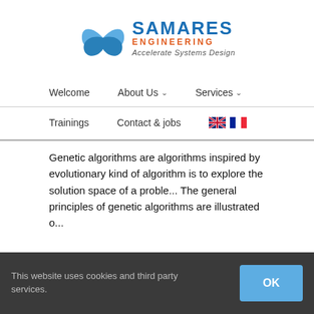[Figure (logo): Samares Engineering logo with blue bird/butterfly icon, blue SAMARES text, orange ENGINEERING text, and italic tagline 'Accelerate Systems Design']
Welcome   About Us ∨   Services ∨
Trainings   Contact & jobs   [UK flag]   [FR flag]
Genetic algorithms are algorithms inspired by  evolutionary kind of algorithm is to explore the solution space of a proble... The general principles of genetic algorithms are illustrated o...
This website uses cookies and third party services.